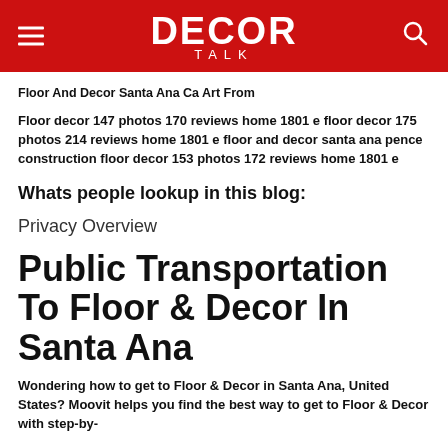DECOR TALK
Floor And Decor Santa Ana Ca Art From
Floor decor 147 photos 170 reviews home 1801 e floor decor 175 photos 214 reviews home 1801 e floor and decor santa ana pence construction floor decor 153 photos 172 reviews home 1801 e
Whats people lookup in this blog:
Privacy Overview
Public Transportation To Floor & Decor In Santa Ana
Wondering how to get to Floor & Decor in Santa Ana, United States? Moovit helps you find the best way to get to Floor & Decor with step-by-